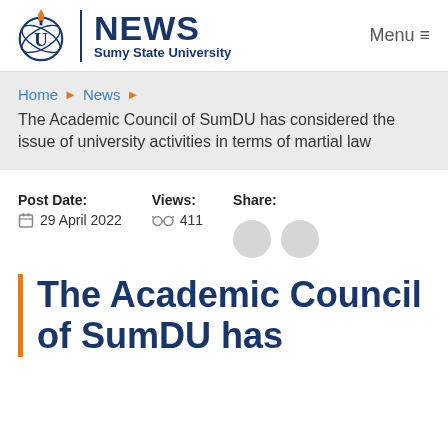NEWS Sumy State University | Menu
Home › News ›
The Academic Council of SumDU has considered the issue of university activities in terms of martial law
Post Date: 29 April 2022 | Views: 411 | Share:
The Academic Council of SumDU has